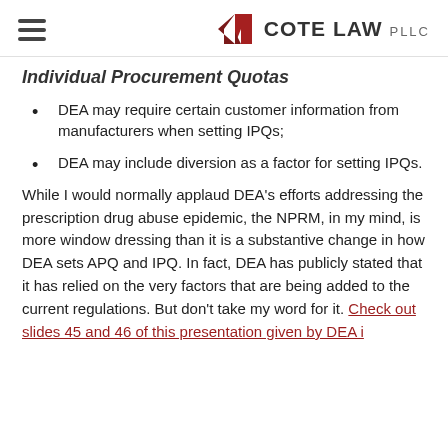COTE LAW PLLC
Individual Procurement Quotas
DEA may require certain customer information from manufacturers when setting IPQs;
DEA may include diversion as a factor for setting IPQs.
While I would normally applaud DEA's efforts addressing the prescription drug abuse epidemic, the NPRM, in my mind, is more window dressing than it is a substantive change in how DEA sets APQ and IPQ. In fact, DEA has publicly stated that it has relied on the very factors that are being added to the current regulations. But don't take my word for it. Check out slides 45 and 46 of this presentation given by DEA i…